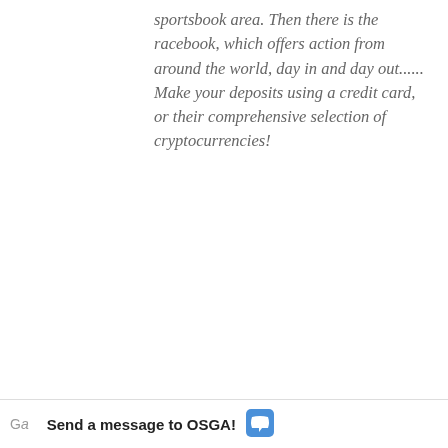sportsbook area. Then there is the racebook, which offers action from around the world, day in and day out...... Make your deposits using a credit card, or their comprehensive selection of cryptocurrencies!
[Figure (illustration): Image of stacked bundles of US currency with bright green text overlay reading 'CA$H BONUSES']
Find the best bonuses here!
Send a message to OSGA!